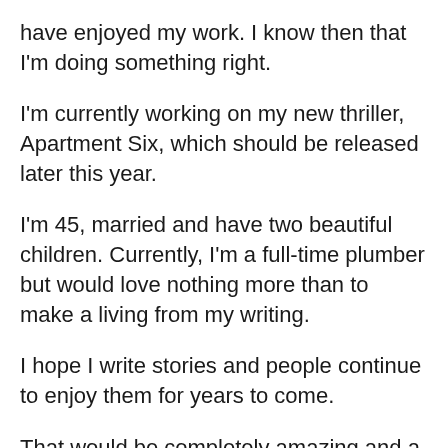have enjoyed my work. I know then that I'm doing something right.
I'm currently working on my new thriller, Apartment Six, which should be released later this year.
I'm 45, married and have two beautiful children. Currently, I'm a full-time plumber but would love nothing more than to make a living from my writing.
I hope I write stories and people continue to enjoy them for years to come.
That would be completely amazing and a dream come true.
Links